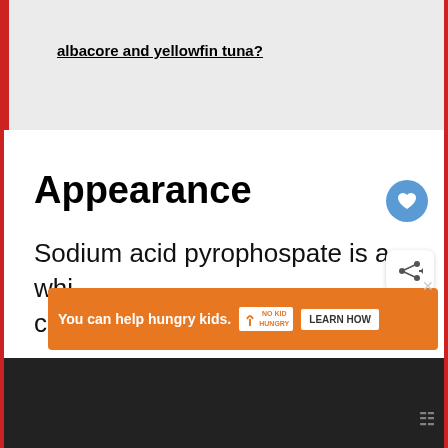albacore and yellowfin tuna?
Appearance
Sodium acid pyrophospate is a whi crystalline powder that is odor
[Figure (screenshot): What's Next promo showing 'Scratched Your Stainle...' with thumbnail image]
[Figure (infographic): Advertisement: You can help hungry kids. No Kid Hungry. Learn How.]